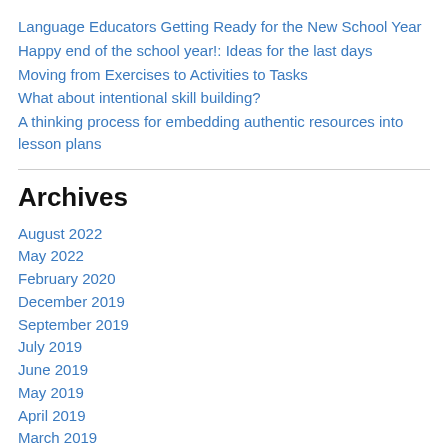Language Educators Getting Ready for the New School Year
Happy end of the school year!: Ideas for the last days
Moving from Exercises to Activities to Tasks
What about intentional skill building?
A thinking process for embedding authentic resources into lesson plans
Archives
August 2022
May 2022
February 2020
December 2019
September 2019
July 2019
June 2019
May 2019
April 2019
March 2019
February 2019